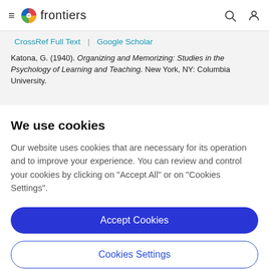frontiers
CrossRef Full Text | Google Scholar
Katona, G. (1940). Organizing and Memorizing: Studies in the Psychology of Learning and Teaching. New York, NY: Columbia University.
We use cookies
Our website uses cookies that are necessary for its operation and to improve your experience. You can review and control your cookies by clicking on "Accept All" or on "Cookies Settings".
Accept Cookies
Cookies Settings